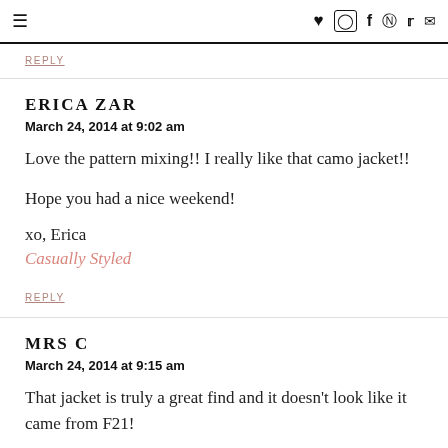≡ ♥ [instagram] f [pinterest] [twitter] [mail]
REPLY (link at top)
ERICA ZAR
March 24, 2014 at 9:02 am

Love the pattern mixing!! I really like that camo jacket!!

Hope you had a nice weekend!

xo, Erica
Casually Styled

REPLY
MRS C
March 24, 2014 at 9:15 am

That jacket is truly a great find and it doesn't look like it came from F21!